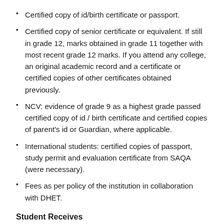Certified copy of id/birth certificate or passport.
Certified copy of senior certificate or equivalent. If still in grade 12, marks obtained in grade 11 together with most recent grade 12 marks. If you attend any college, an original academic record and a certificate or certified copies of other certificates obtained previously.
NCV: evidence of grade 9 as a highest grade passed certified copy of id / birth certificate and certified copies of parent's id or Guardian, where applicable.
International students: certified copies of passport, study permit and evaluation certificate from SAQA (were necessary).
Fees as per policy of the institution in collaboration with DHET.
Student Receives
Application Form, Enrolment S14 Admin Form...